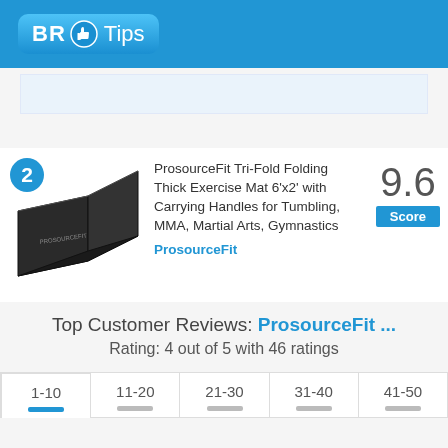[Figure (logo): BR Tips logo with thumbs up icon on blue background]
[Figure (photo): ProsourceFit Tri-Fold Folding Thick Exercise Mat product image, black folding mat]
ProsourceFit Tri-Fold Folding Thick Exercise Mat 6'x2' with Carrying Handles for Tumbling, MMA, Martial Arts, Gymnastics
ProsourceFit
9.6
Score
Top Customer Reviews: ProsourceFit ...
Rating: 4 out of 5 with 46 ratings
1-10
11-20
21-30
31-40
41-50